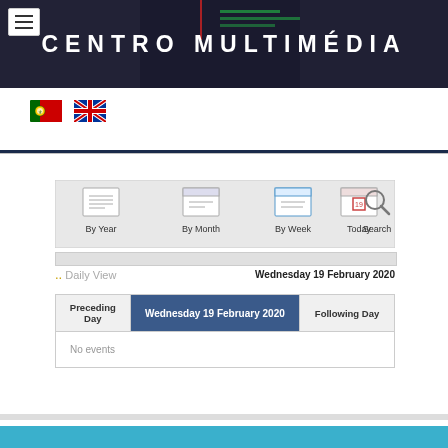[Figure (screenshot): Banner header with dark background showing text CENTRO MULTIMÉDIA in white bold letters with keyboard/studio equipment imagery]
[Figure (illustration): Portuguese flag and UK flag icons side by side for language selection]
[Figure (screenshot): Calendar navigation toolbar with By Year, By Month, By Week, Today, Search buttons]
Daily View
Wednesday 19 February 2020
| Preceding Day | Wednesday 19 February 2020 | Following Day |
| --- | --- | --- |
| No events |  |  |